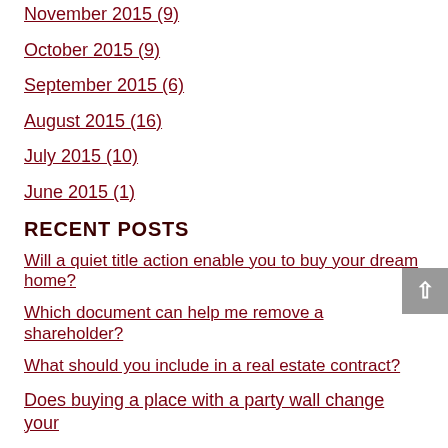November 2015 (9)
October 2015 (9)
September 2015 (6)
August 2015 (16)
July 2015 (10)
June 2015 (1)
RECENT POSTS
Will a quiet title action enable you to buy your dream home?
Which document can help me remove a shareholder?
What should you include in a real estate contract?
Does buying a place with a party wall change your